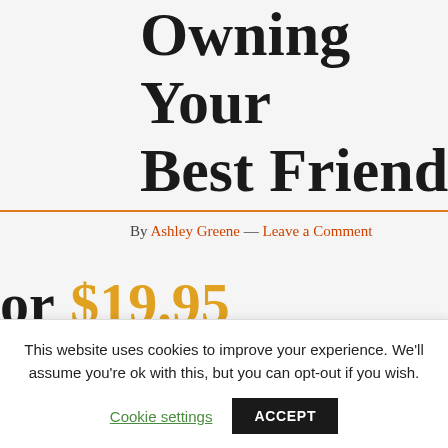Owning Your Best Friend
By Ashley Greene — Leave a Comment
or $19.95
hedding Grooming
This website uses cookies to improve your experience. We'll assume you're ok with this, but you can opt-out if you wish.
Cookie settings   ACCEPT